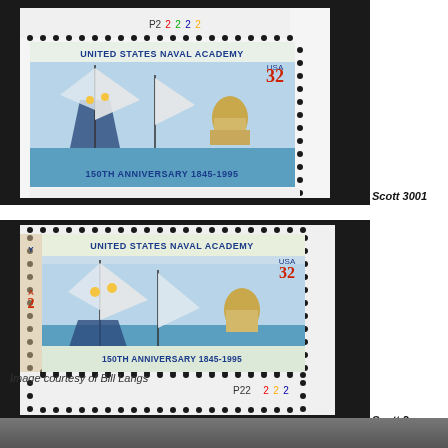[Figure (photo): US postage stamp - United States Naval Academy 150th Anniversary 1845-1995, 32 cents, showing sailboats racing with the Naval Academy dome in background. Plate block with P22222 marking. Top position.]
Scott 3001
[Figure (photo): US postage stamp - United States Naval Academy 150th Anniversary 1845-1995, 32 cents, showing sailboats racing with the Naval Academy dome in background. Plate block with P22222 marking. Bottom/inverted position.]
Scott 3
Image courtesy of Bill Langs
[Figure (photo): Bottom strip of a dark/grey image, partially cut off at page bottom.]